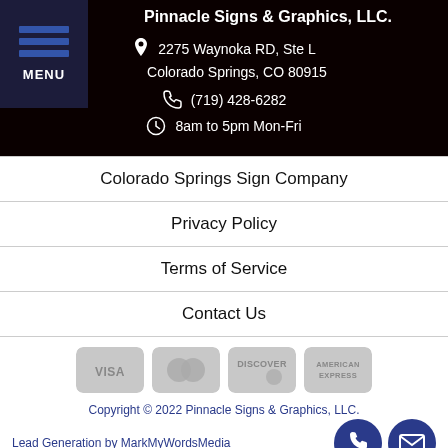Pinnacle Signs & Graphics, LLC.
2275 Waynoka RD, Ste L
Colorado Springs, CO 80915
(719) 428-6282
8am to 5pm Mon-Fri
Colorado Springs Sign Company
Privacy Policy
Terms of Service
Contact Us
[Figure (other): Payment method icons: Visa, Mastercard, Discover, American Express]
Copyright © 2022 Pinnacle Signs & Graphics, LLC. Lead Generation by MarkMyWordsMedia